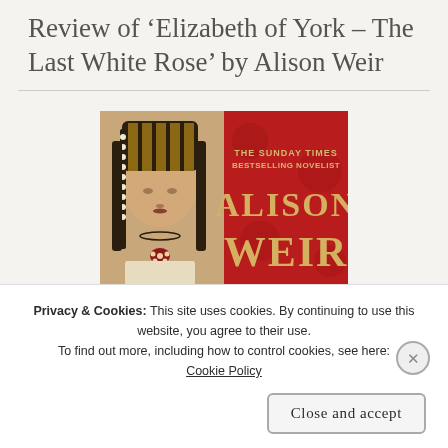Review of 'Elizabeth of York – The Last White Rose' by Alison Weir
[Figure (illustration): Book cover for 'Elizabeth of York: The Last White Rose' by Alison Weir. Left half shows a portrait painting of Elizabeth of York wearing a jeweled headdress. Right half shows a red background with gold text reading 'THE SUNDAY TIMES BESTSELLING NOVELIST' above large gold letters 'ALISON WEIR'.]
Privacy & Cookies: This site uses cookies. By continuing to use this website, you agree to their use.
To find out more, including how to control cookies, see here: Cookie Policy
Close and accept